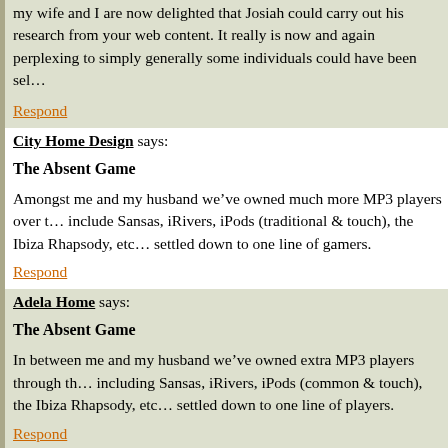my wife and I are now delighted that Josiah could carry out his research from your web content. It really is now and again perplexing to simply generally some individuals could have been sel…
Respond
City Home Design says:
The Absent Game
Amongst me and my husband we've owned much more MP3 players over the years than I can count, including Sansas, iRivers, iPods (traditional & touch), the Ibiza Rhapsody, etc. But, the last few years I've settled down to one line of gamers.
Respond
Adela Home says:
The Absent Game
In between me and my husband we've owned extra MP3 players through the years than I can count, including Sansas, iRivers, iPods (common & touch), the Ibiza Rhapsody, etc. But, the last few years I've settled down to one line of players.
Respond